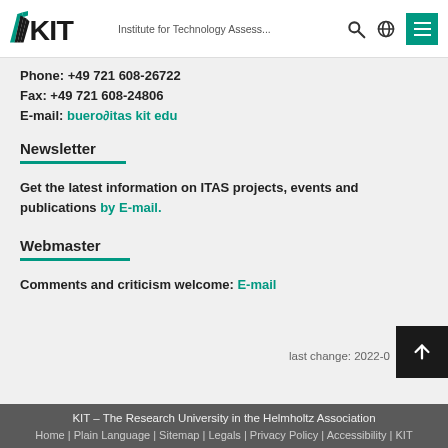KIT – Institute for Technology Assess...
Phone: +49 721 608-26722
Fax: +49 721 608-24806
E-mail: buero∂itas kit edu
Newsletter
Get the latest information on ITAS projects, events and publications by E-mail.
Webmaster
Comments and criticism welcome: E-mail
last change: 2022-0
KIT – The Research University in the Helmholtz Association
Home | Plain Language | Sitemap | Legals | Privacy Policy | Accessibility | KIT